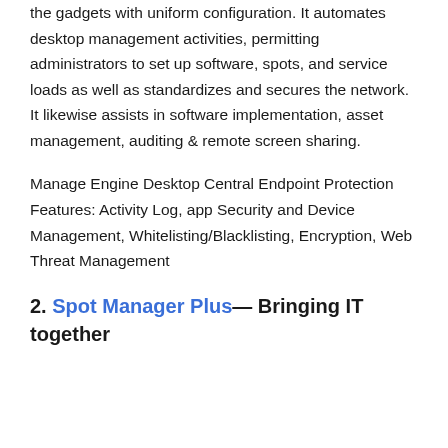the gadgets with uniform configuration. It automates desktop management activities, permitting administrators to set up software, spots, and service loads as well as standardizes and secures the network. It likewise assists in software implementation, asset management, auditing & remote screen sharing.
Manage Engine Desktop Central Endpoint Protection Features: Activity Log, app Security and Device Management, Whitelisting/Blacklisting, Encryption, Web Threat Management
2. Spot Manager Plus— Bringing IT together